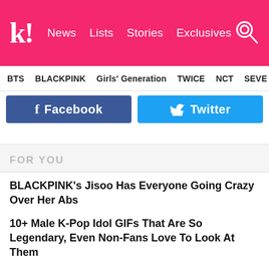k! News Lists Stories Exclusives
BTS BLACKPINK Girls' Generation TWICE NCT SEVE
[Figure (screenshot): Facebook and Twitter social share buttons]
FOR YOU
BLACKPINK's Jisoo Has Everyone Going Crazy Over Her Abs
10+ Male K-Pop Idol GIFs That Are So Legendary, Even Non-Fans Love To Look At Them
MONSTA X's I.M Pens Thoughtful Letter To Monbebe Following His Departure From Starship Entertainment
Actor Lee Do Hyun's Instagram Gets Hacked, And IVE's Wonyoung To Be Next Target